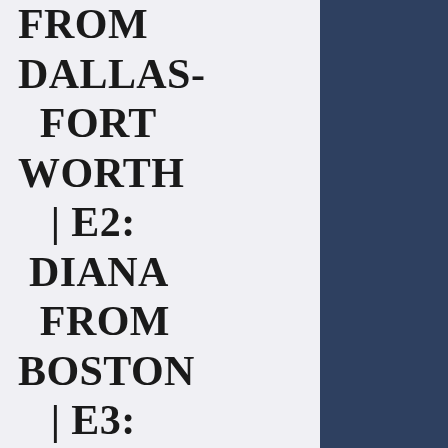FROM DALLAS-FORT WORTH | E2: DIANA FROM BOSTON | E3: EILEEN FROM FLINT